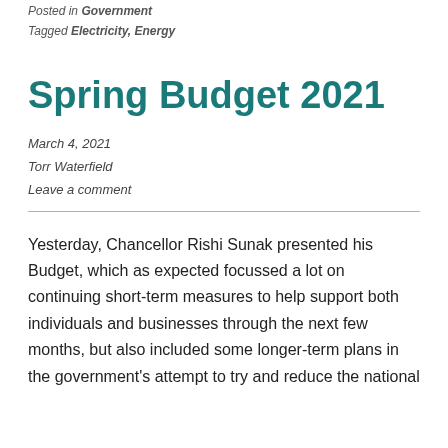Posted in Government
Tagged Electricity, Energy
Spring Budget 2021
March 4, 2021
Torr Waterfield
Leave a comment
Yesterday, Chancellor Rishi Sunak presented his Budget, which as expected focussed a lot on continuing short-term measures to help support both individuals and businesses through the next few months, but also included some longer-term plans in the government's attempt to try and reduce the national